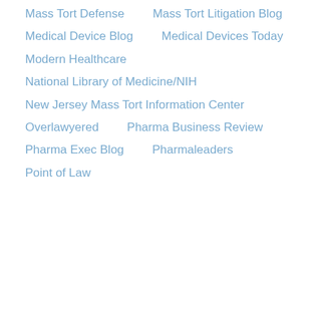Mass Tort Defense
Mass Tort Litigation Blog
Medical Device Blog
Medical Devices Today
Modern Healthcare
National Library of Medicine/NIH
New Jersey Mass Tort Information Center
Overlawyered
Pharma Business Review
Pharma Exec Blog
Pharmaleaders
Point of Law